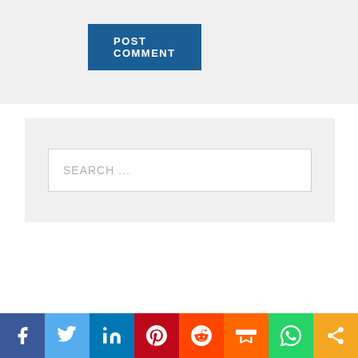[Figure (screenshot): POST COMMENT button — dark blue rectangle with white uppercase bold text 'POST COMMENT']
SEARCH ...
[Figure (infographic): Social sharing bar with 8 icons: Facebook (dark blue), Twitter (light blue), LinkedIn (dark blue), Pinterest (red), Reddit (orange-red), Mix (orange), WhatsApp (green), Share (amber/orange)]